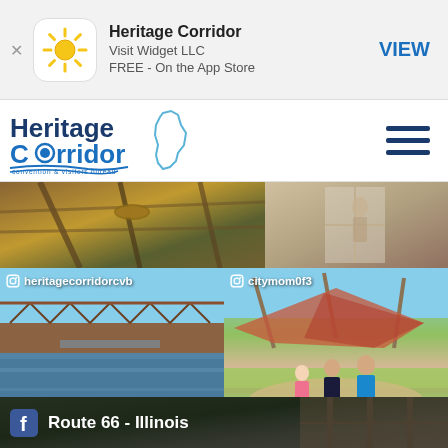[Figure (screenshot): App Store banner advertisement for Heritage Corridor app by Visit Widget LLC, FREE on the App Store, with VIEW button]
[Figure (logo): Heritage Corridor Convention & Visitors Bureau logo with Illinois state outline and navigation hamburger menu]
[Figure (photo): Top strip: ropes course/climbing activity photo on left, indoor activity photo on right]
[Figure (photo): Instagram post by heritagecorridorcvb showing a railroad bridge over a river with a kayak]
[Figure (photo): Instagram post by citymom0f3 showing three children at an outdoor recreation area with shade structures]
[Figure (photo): Facebook Route 66 - Illinois post showing a building exterior]